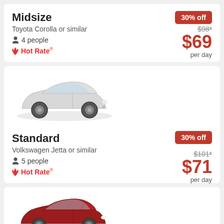Midsize
Toyota Corolla or similar
4 people
Hot Rate
30% off
$98* $69 per day
[Figure (illustration): Silver Volkswagen Jetta sedan, 3/4 front view]
Standard
Volkswagen Jetta or similar
5 people
Hot Rate
30% off
$101* $71 per day
[Figure (illustration): Red Ford Fusion sedan, 3/4 front view]